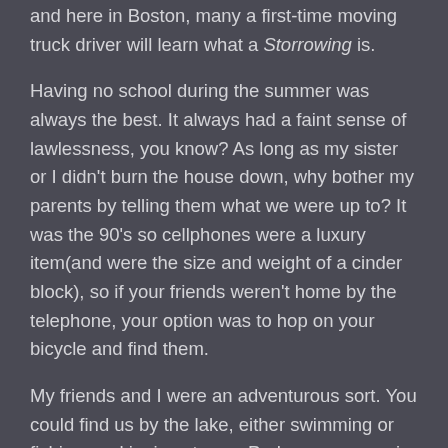and here in Boston, many a first-time moving truck driver will learn what a Storrowing is.
Having no school during the summer was always the best. It always had a faint sense of lawlessness, you know? As long as my sister or I didn't burn the house down, why bother my parents by telling them what we were up to? It was the 90's so cellphones were a luxury item(and were the size and weight of a cinder block), so if your friends weren't home by the telephone, your option was to hop on your bicycle and find them.
My friends and I were an adventurous sort. You could find us by the lake, either swimming or fishing or skipping stones. Perhaps we were in